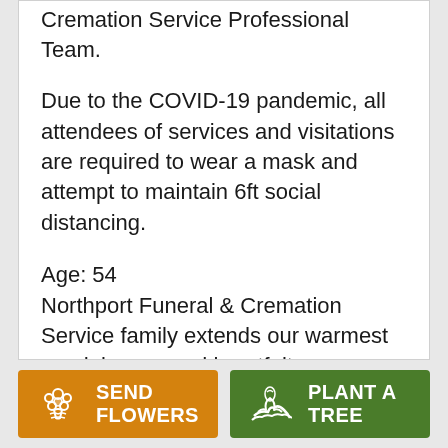Cremation Service Professional Team.
Due to the COVID-19 pandemic, all attendees of services and visitations are required to wear a mask and attempt to maintain 6ft social distancing.
Age: 54
Northport Funeral & Cremation Service family extends our warmest condolences and heartfelt sympathies to the family of Mr. Dwyen Earnest. Mr. Earnest passed away on Tuesday, June 1, 2021 in Tuscaloosa, AL. Visitation hours will be on Sunday, June 6, 2021, between 1 pm
SEND FLOWERS
PLANT A TREE